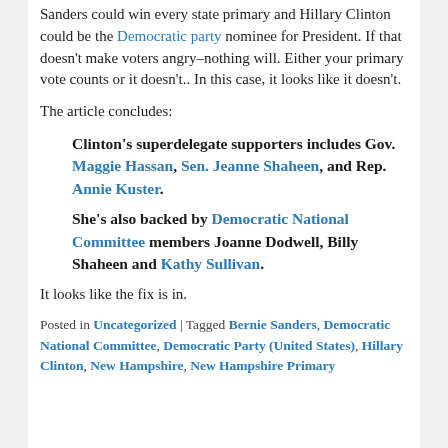Sanders could win every state primary and Hillary Clinton could be the Democratic party nominee for President. If that doesn't make voters angry–nothing will. Either your primary vote counts or it doesn't.. In this case, it looks like it doesn't.
The article concludes:
Clinton's superdelegate supporters includes Gov. Maggie Hassan, Sen. Jeanne Shaheen, and Rep. Annie Kuster.
She's also backed by Democratic National Committee members Joanne Dodwell, Billy Shaheen and Kathy Sullivan.
It looks like the fix is in.
Posted in Uncategorized | Tagged Bernie Sanders, Democratic National Committee, Democratic Party (United States), Hillary Clinton, New Hampshire, New Hampshire Primary